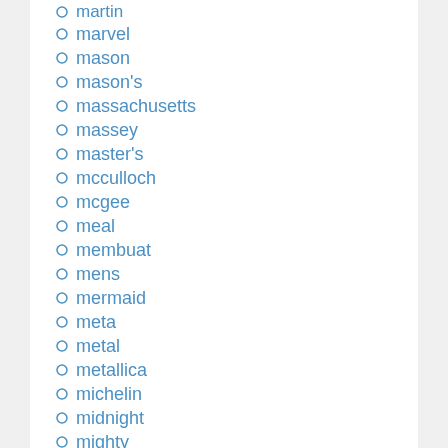martin
marvel
mason
mason's
massachusetts
massey
master's
mcculloch
mcgee
meal
membuat
mens
mermaid
meta
metal
metallica
michelin
midnight
mighty
milk